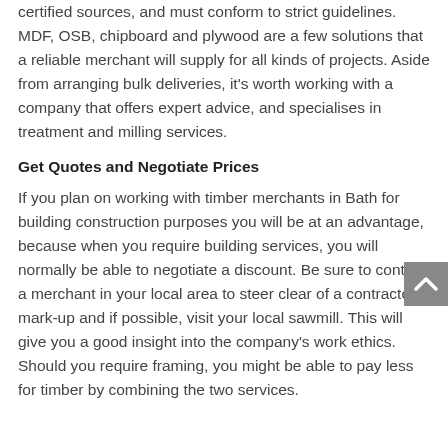Timber should be delivered to the company from certified sources, and must conform to strict guidelines. MDF, OSB, chipboard and plywood are a few solutions that a reliable merchant will supply for all kinds of projects. Aside from arranging bulk deliveries, it's worth working with a company that offers expert advice, and specialises in treatment and milling services.
Get Quotes and Negotiate Prices
If you plan on working with timber merchants in Bath for building construction purposes you will be at an advantage, because when you require building services, you will normally be able to negotiate a discount. Be sure to contact a merchant in your local area to steer clear of a contractor's mark-up and if possible, visit your local sawmill. This will give you a good insight into the company's work ethics. Should you require framing, you might be able to pay less for timber by combining the two services.